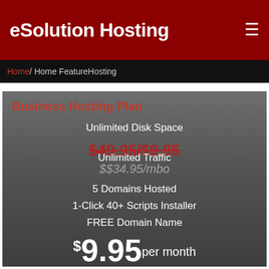eSolution Hosting
Home / Home FeatureHosting
Business Hosting Plan
Unlimited Disk Space
Unlimited Traffic
5 Domains Hosted
1-Click 40+ Scripts Installer
FREE Domain Name
$9.95 per month